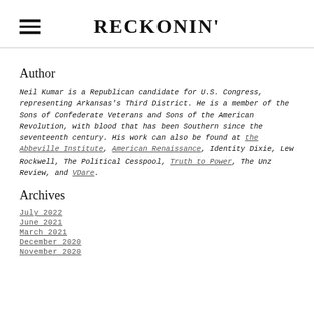RECKONIN'
Author
Neil Kumar is a Republican candidate for U.S. Congress, representing Arkansas's Third District. He is a member of the Sons of Confederate Veterans and Sons of the American Revolution, with blood that has been Southern since the seventeenth century. His work can also be found at the Abbeville Institute, American Renaissance, Identity Dixie, Lew Rockwell, The Political Cesspool, Truth to Power, The Unz Review, and VDare.
Archives
July 2022
June 2021
March 2021
December 2020
November 2020